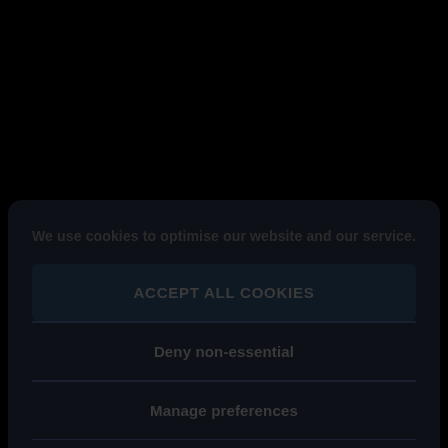We use cookies to optimise our website and our service.
Accept all cookies
Deny non-essential
Manage preferences
Cookie Policy · Privacy Policy